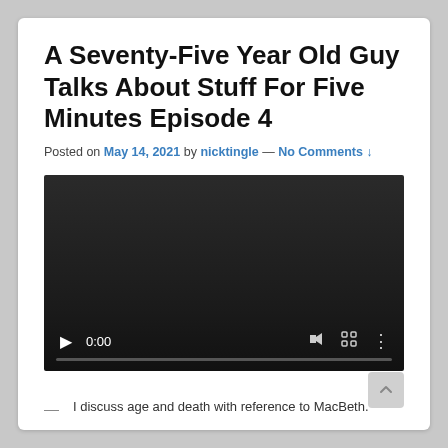A Seventy-Five Year Old Guy Talks About Stuff For Five Minutes Episode 4
Posted on May 14, 2021 by nicktingle — No Comments ↓
[Figure (screenshot): Embedded video player showing a dark/black video with playback controls: play button, time display 0:00, volume icon, fullscreen icon, more options icon, and a progress bar at the bottom.]
I discuss age and death with reference to MacBeth.